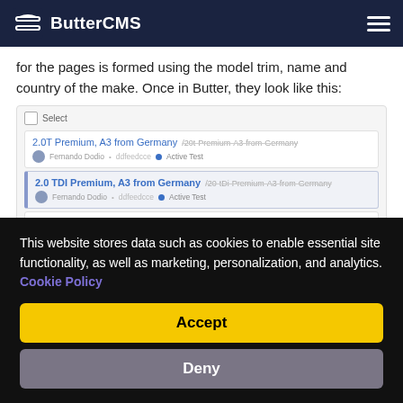ButterCMS
for the pages is formed using the model trim, name and country of the make. Once in Butter, they look like this:
[Figure (screenshot): ButterCMS interface showing a list of page entries: '2.0T Premium, A3 from Germany /20t-Premium-A3-from-Germany', '2.0 TDI Premium, A3 from Germany /20-tDi-Premium-A3-from-Germany', and 'Base, Rapide from UK /Base-Rapide-from-UK', each with author avatar for Fernando Dodio and Active Test tag.]
This website stores data such as cookies to enable essential site functionality, as well as marketing, personalization, and analytics. Cookie Policy
Accept
Deny